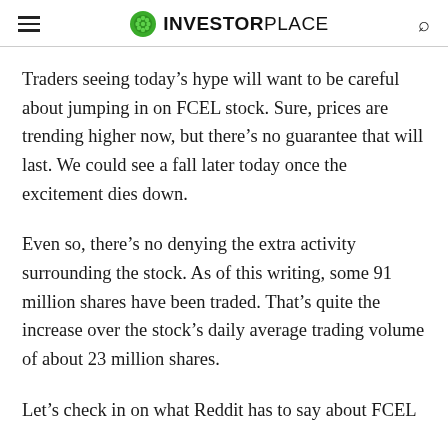INVESTORPLACE
Traders seeing today’s hype will want to be careful about jumping in on FCEL stock. Sure, prices are trending higher now, but there’s no guarantee that will last. We could see a fall later today once the excitement dies down.
Even so, there’s no denying the extra activity surrounding the stock. As of this writing, some 91 million shares have been traded. That’s quite the increase over the stock’s daily average trading volume of about 23 million shares.
Let’s check in on what Reddit has to say about FCEL